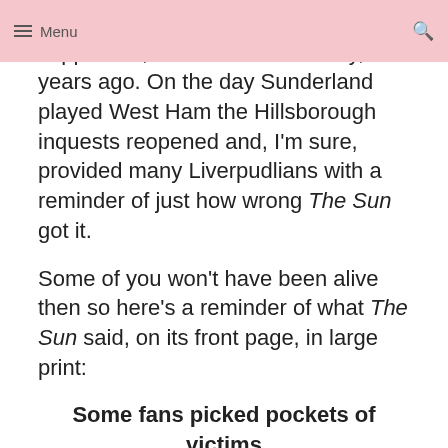Menu
disgracefully towards Liverpool supporters, indeed the whole city, 25 years ago. On the day Sunderland played West Ham the Hillsborough inquests reopened and, I'm sure, provided many Liverpudlians with a reminder of just how wrong The Sun got it.
Some of you won't have been alive then so here's a reminder of what The Sun said, on its front page, in large print:
Some fans picked pockets of victims Some fans urinated on the brave cops Some fans beat up PC giving kiss of life. (http://en.wikipedia.org/wiki/File:Hillsborough_disaster_Sun.jpg)
Having got it wrong, The Sun kept getting it